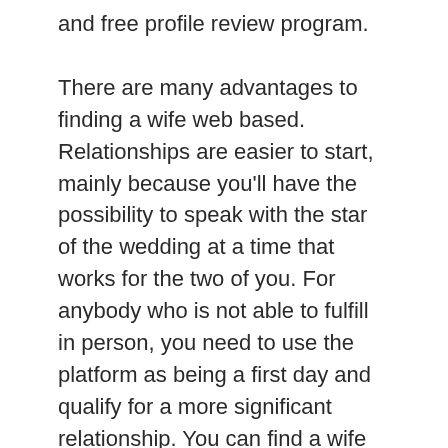and free profile review program.
There are many advantages to finding a wife web based. Relationships are easier to start, mainly because you'll have the possibility to speak with the star of the wedding at a time that works for the two of you. For anybody who is not able to fulfill in person, you need to use the platform as being a first day and qualify for a more significant relationship. You can find a wife online if you're woman man.
The web makes it easy to meet potential life partners from a different nation. In some cases, you will discover a Russian female who is willing to marry you. The Internet is an excellent tool for locating your ideal wife, but it really is important to adopt your time and think elements through before making a decision. You may well be surprised to find that you have found the most fantastic little…